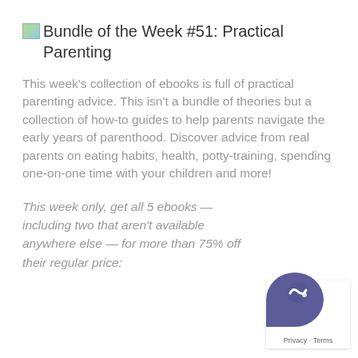Bundle of the Week #51: Practical Parenting
This week's collection of ebooks is full of practical parenting advice. This isn't a bundle of theories but a collection of how-to guides to help parents navigate the early years of parenthood. Discover advice from real parents on eating habits, health, potty-training, spending one-on-one time with your children and more!
This week only, get all 5 ebooks — including two that aren't available anywhere else — for more than 75% off their regular price: